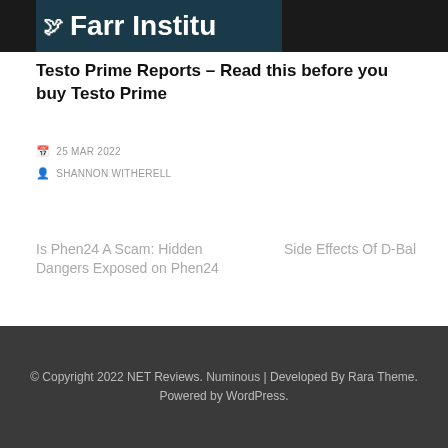[Figure (logo): Farr Institute logo with bird icon on dark teal background]
Testo Prime Reports – Read this before you buy Testo Prime
25 MAR 2022
SHANNON WITHERELL
Is Phen24 A Scam: Hidden Dangers Exposed on Phen24
Side Effects Of D-Bal
© Copyright 2022 NET Reviews. Numinous | Developed By Rara Theme. Powered by WordPress.